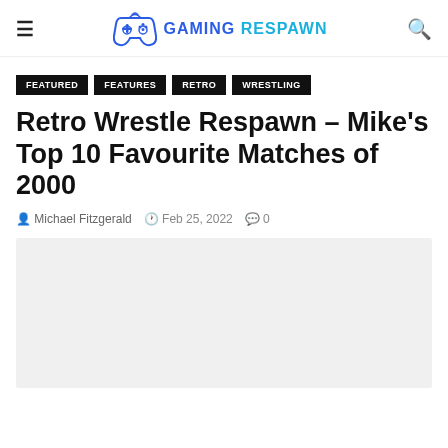GAMING RESPAWN
FEATURED
FEATURES
RETRO
WRESTLING
Retro Wrestle Respawn – Mike's Top 10 Favourite Matches of 2000
Michael Fitzgerald  Feb 25, 2022  0
[Figure (photo): Featured image placeholder — light grey rectangle]